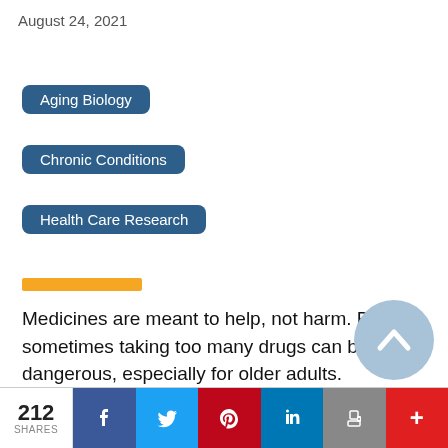August 24, 2021
Aging Biology
Chronic Conditions
Health Care Research
Medicines are meant to help, not harm. But sometimes taking too many drugs can be dangerous, especially for older adults.
212 SHARES | Share on Facebook | Share on Twitter | Share on Pinterest | Share on LinkedIn | Print | +